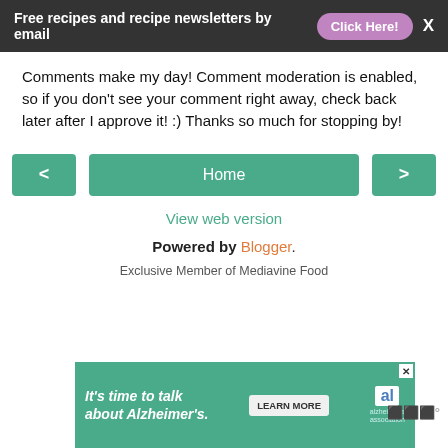Free recipes and recipe newsletters by email  Click Here!  X
Comments make my day! Comment moderation is enabled, so if you don't see your comment right away, check back later after I approve it! :) Thanks so much for stopping by!
< Home >
View web version
Powered by Blogger.
Exclusive Member of Mediavine Food
[Figure (infographic): Ad banner: It's time to talk about Alzheimer's. Learn More button. Alzheimer's Association logo. Close X button. Moat logo.]